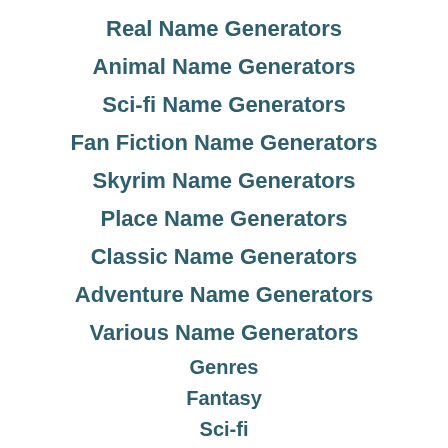Real Name Generators
Animal Name Generators
Sci-fi Name Generators
Fan Fiction Name Generators
Skyrim Name Generators
Place Name Generators
Classic Name Generators
Adventure Name Generators
Various Name Generators
Genres
Fantasy
Sci-fi
Children